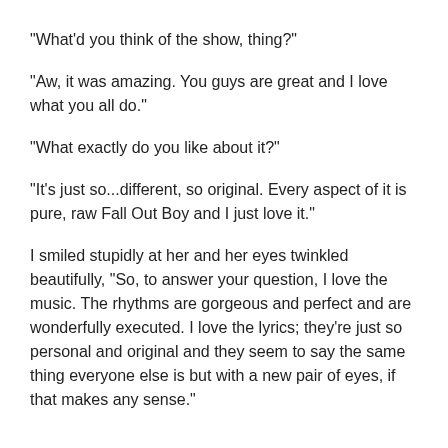"What'd you think of the show, thing?"
"Aw, it was amazing. You guys are great and I love what you all do."
"What exactly do you like about it?"
"It's just so...different, so original. Every aspect of it is pure, raw Fall Out Boy and I just love it."
I smiled stupidly at her and her eyes twinkled beautifully, "So, to answer your question, I love the music. The rhythms are gorgeous and perfect and are wonderfully executed. I love the lyrics; they're just so personal and original and they seem to say the same thing everyone else is but with a new pair of eyes, if that makes any sense."